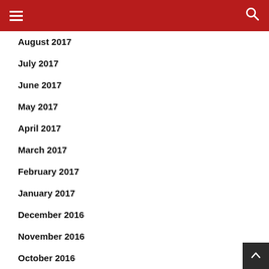Navigation header with hamburger menu and search icon
August 2017
July 2017
June 2017
May 2017
April 2017
March 2017
February 2017
January 2017
December 2016
November 2016
October 2016
September 2016
August 2016
July 2016